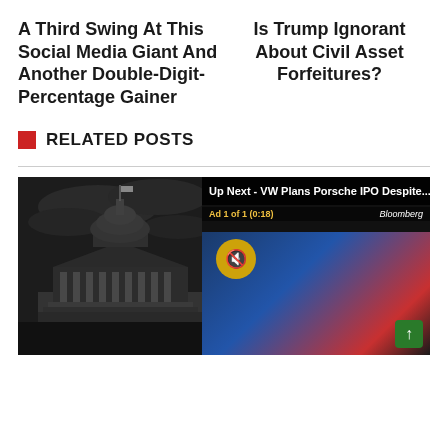A Third Swing At This Social Media Giant And Another Double-Digit-Percentage Gainer
Is Trump Ignorant About Civil Asset Forfeitures?
RELATED POSTS
[Figure (screenshot): Media screenshot showing a black-and-white photo of the US Capitol building on the left, with a Bloomberg TV video overlay on the right displaying 'Up Next - VW Plans Porsche IPO Despite...' with ad indicator 'Ad 1 of 1 (0:18)' and a mute button.]